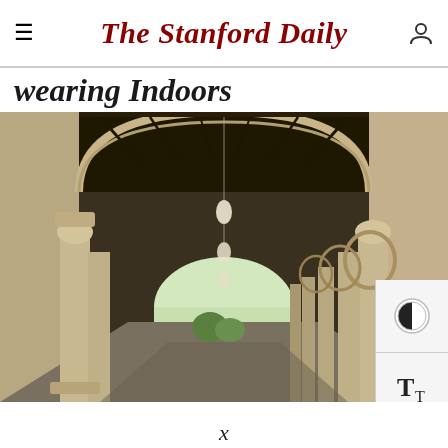The Stanford Daily
wearing Indoors
[Figure (photo): Photo of a Stanford University covered walkway/colonnade with Romanesque arches, stone columns, hanging globe lanterns, and a bright archway opening at the far end showing green trees and lawn.]
x